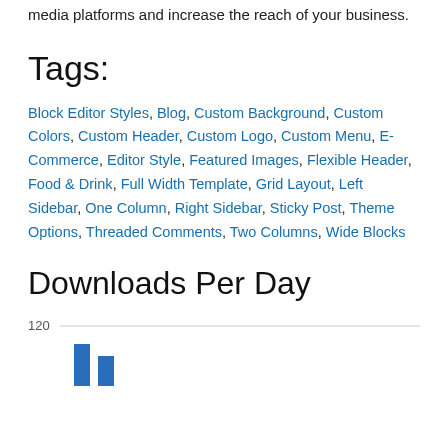target a greater audience base through many social media platforms and increase the reach of your business.
Tags:
Block Editor Styles, Blog, Custom Background, Custom Colors, Custom Header, Custom Logo, Custom Menu, E-Commerce, Editor Style, Featured Images, Flexible Header, Food & Drink, Full Width Template, Grid Layout, Left Sidebar, One Column, Right Sidebar, Sticky Post, Theme Options, Threaded Comments, Two Columns, Wide Blocks
Downloads Per Day
[Figure (bar-chart): Bar chart showing downloads per day, y-axis visible with value 120, bars visible at bottom of page]